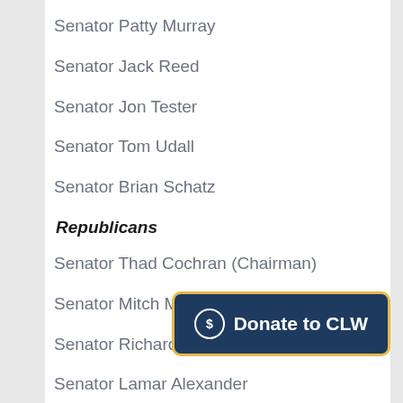Senator Patty Murray
Senator Jack Reed
Senator Jon Tester
Senator Tom Udall
Senator Brian Schatz
Republicans
Senator Thad Cochran (Chairman)
Senator Mitch McConnell
Senator Richard C. Shelby
Senator Lamar Alexander
Senator Susan Collins